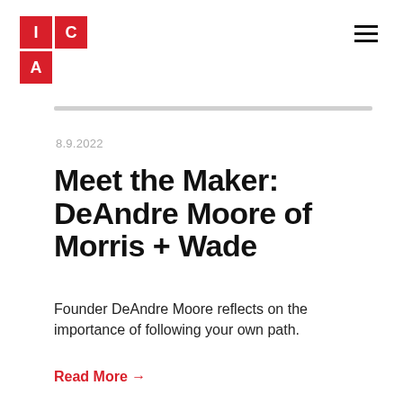[Figure (logo): ICA logo — red grid with letters I, C (top row) and A (bottom left) in white on red squares]
≡
8.9.2022
Meet the Maker: DeAndre Moore of Morris + Wade
Founder DeAndre Moore reflects on the importance of following your own path.
Read More →